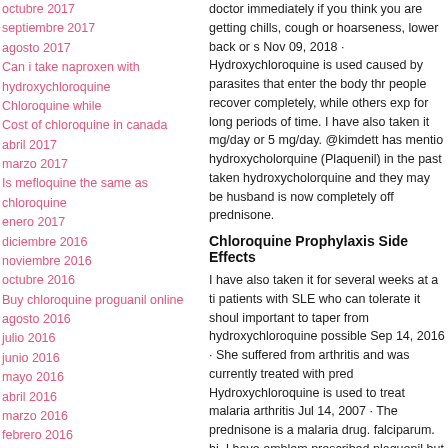octubre 2017
septiembre 2017
agosto 2017
Can i take naproxen with hydroxychloroquine
Chloroquine while
Cost of chloroquine in canada
abril 2017
marzo 2017
Is mefloquine the same as chloroquine
enero 2017
diciembre 2016
noviembre 2016
octubre 2016
Buy chloroquine proguanil online
agosto 2016
julio 2016
junio 2016
mayo 2016
abril 2016
marzo 2016
febrero 2016
enero 2016
diciembre 2015
noviembre 2015
octubre 2015
doctor immediately if you think you are getting chills, cough or hoarseness, lower back or s Nov 09, 2018 · Hydroxychloroquine is used caused by parasites that enter the body thr people recover completely, while others exp for long periods of time. I have also taken it mg/day or 5 mg/day. @kimdett has mentio hydroxycholorquine (Plaquenil) in the past taken hydroxycholorquine and they may be husband is now completely off prednisone.
Chloroquine Prophylaxis Side Effects
I have also taken it for several weeks at a ti patients with SLE who can tolerate it shoul important to taper from hydroxychloroquine possible Sep 14, 2016 · She suffered from arthritis and was currently treated with pred Hydroxychloroquine is used to treat malaria arthritis Jul 14, 2007 · The prednisone is a malaria drug. falciparum. hi, I have emblem prescribed plaquenil but either my health pl had to settle for on hydroxychloroquine (ge make a co payment of $10.00 monthly. Ap